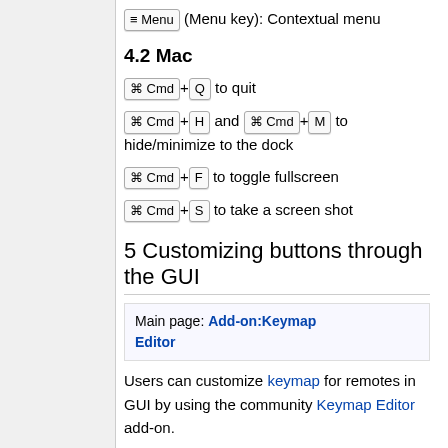☰ Menu (Menu key): Contextual menu
4.2 Mac
⌘ Cmd + Q to quit
⌘ Cmd + H and ⌘ Cmd + M to hide/minimize to the dock
⌘ Cmd + F to toggle fullscreen
⌘ Cmd + S to take a screen shot
5 Customizing buttons through the GUI
Main page: Add-on:Keymap Editor
Users can customize keymap for remotes in GUI by using the community Keymap Editor add-on.